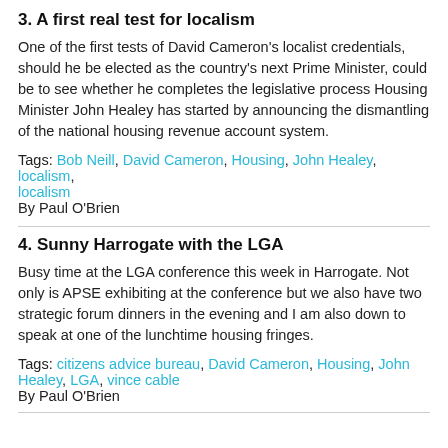3. A first real test for localism
One of the first tests of David Cameron's localist credentials, should he be elected as the country's next Prime Minister, could be to see whether he completes the legislative process Housing Minister John Healey has started by announcing the dismantling of the national housing revenue account system.
Tags: Bob Neill, David Cameron, Housing, John Healey, localism, localism
By Paul O'Brien
4. Sunny Harrogate with the LGA
Busy time at the LGA conference this week in Harrogate. Not only is APSE exhibiting at the conference but we also have two strategic forum dinners in the evening and I am also down to speak at one of the lunchtime housing fringes.
Tags: citizens advice bureau, David Cameron, Housing, John Healey, LGA, vince cable
By Paul O'Brien